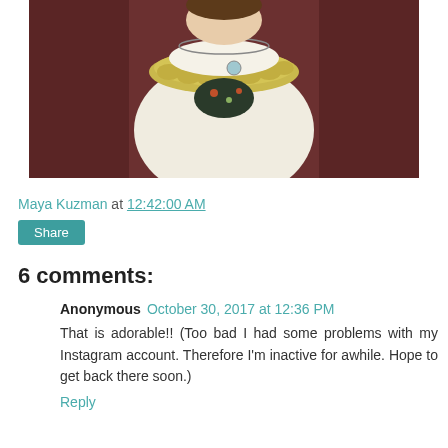[Figure (photo): A child wearing a cream knit cardigan with yellow ruffled collar trim and a button pin, seated in a wooden chair with a dark floral outfit underneath, photographed from above.]
Maya Kuzman at 12:42:00 AM
Share
6 comments:
Anonymous October 30, 2017 at 12:36 PM
That is adorable!! (Too bad I had some problems with my Instagram account. Therefore I'm inactive for awhile. Hope to get back there soon.)
Reply